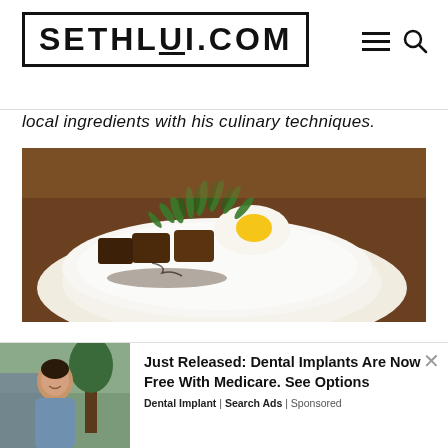SETHLUI.COM
local ingredients with his culinary techniques.
[Figure (photo): A gourmet dish on a white plate featuring braised meat cubes garnished with fresh herbs and a fried egg, with an advertisement overlay showing 'Most Popular Products Updated Weekly!' on an orange background]
[Figure (infographic): Bottom advertisement: Just Released: Dental Implants Are Now Free With Medicare. See Options - Dental Implant | Search Ads | Sponsored, with a photo of a smiling woman outdoors]
Just Released: Dental Implants Are Now Free With Medicare. See Options
Dental Implant | Search Ads | Sponsored